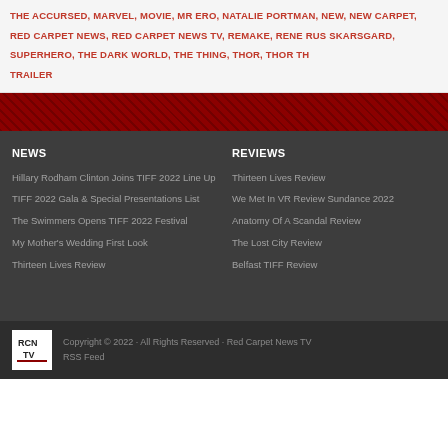THE ACCURSED, MARVEL, MOVIE, MR ERO, NATALIE PORTMAN, NEW, NEW CARPET, RED CARPET NEWS, RED CARPET NEWS TV, REMAKE, RENE RUSS SKARSGARD, SUPERHERO, THE DARK WORLD, THE THING, THOR, THOR TH TRAILER
NEWS
Hillary Rodham Clinton Joins TIFF 2022 Line Up
TIFF 2022 Gala & Special Presentations List
The Swimmers Opens TIFF 2022 Festival
My Mother's Wedding First Look
Thirteen Lives Review
REVIEWS
Thirteen Lives Review
We Met In VR Review Sundance 2022
Anatomy Of A Scandal Review
The Lost City Review
Belfast TIFF Review
Copyright © 2022 · All Rights Reserved · Red Carpet News TV RSS Feed